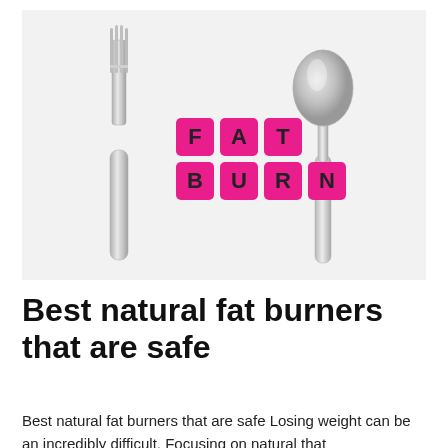[Figure (photo): A flat lay photo on a white background showing a silver fork on the left, a silver spoon on the right, and in the center six pink Scrabble-like letter tiles arranged in two rows spelling 'FAT' on top and 'BURN' on the bottom.]
Best natural fat burners that are safe
Best natural fat burners that are safe Losing weight can be an incredibly difficult. Focusing on natural that